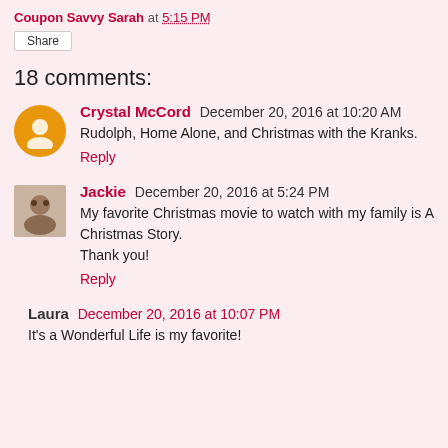Coupon Savvy Sarah at 5:15 PM
Share
18 comments:
Crystal McCord  December 20, 2016 at 10:20 AM
Rudolph, Home Alone, and Christmas with the Kranks.
Reply
Jackie  December 20, 2016 at 5:24 PM
My favorite Christmas movie to watch with my family is A Christmas Story.
Thank you!
Reply
Laura  December 20, 2016 at 10:07 PM
It's a Wonderful Life is my favorite!